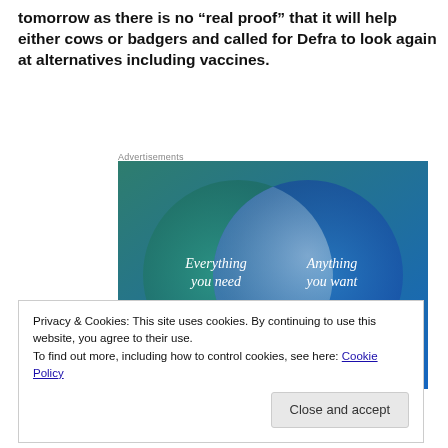tomorrow as there is no “real proof” that it will help either cows or badgers and called for Defra to look again at alternatives including vaccines.
Advertisements
[Figure (illustration): Venn diagram advertisement showing two overlapping circles on a blue-green gradient background. Left circle (teal/green) labeled 'Everything you need', right circle (blue) labeled 'Anything you want', with overlapping region in lighter blue.]
Privacy & Cookies: This site uses cookies. By continuing to use this website, you agree to their use.
To find out more, including how to control cookies, see here: Cookie Policy
it b